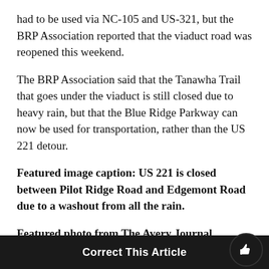had to be used via NC-105 and US-321, but the BRP Association reported that the viaduct road was reopened this weekend.
The BRP Association said that the Tanawha Trail that goes under the viaduct is still closed due to heavy rain, but that the Blue Ridge Parkway can now be used for transportation, rather than the US 221 detour.
Featured image caption: US 221 is closed between Pilot Ridge Road and Edgemont Road due to a washout from all the rain.
Featured photo from The Avery Journal
Story by: Rachel Greenland
Correct This Article